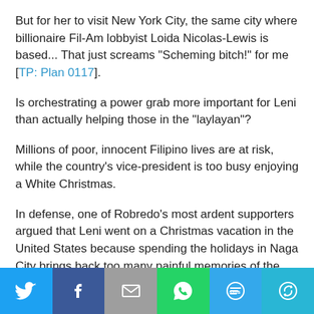But for her to visit New York City, the same city where billionaire Fil-Am lobbyist Loida Nicolas-Lewis is based... That just screams "Scheming bitch!" for me [TP: Plan 0117].
Is orchestrating a power grab more important for Leni than actually helping those in the "laylayan"?
Millions of poor, innocent Filipino lives are at risk, while the country's vice-president is too busy enjoying a White Christmas.
In defense, one of Robredo's most ardent supporters argued that Leni went on a Christmas vacation in the United States because spending the holidays in Naga City brings back too many painful memories of the late Jesse Robredo.
That's bullshit.
[Figure (infographic): Social media share bar with six buttons: Twitter (blue bird icon), Facebook (dark blue f icon), Email (grey envelope icon), WhatsApp (green phone icon), SMS (blue SMS bubble icon), More (teal circular arrows icon)]